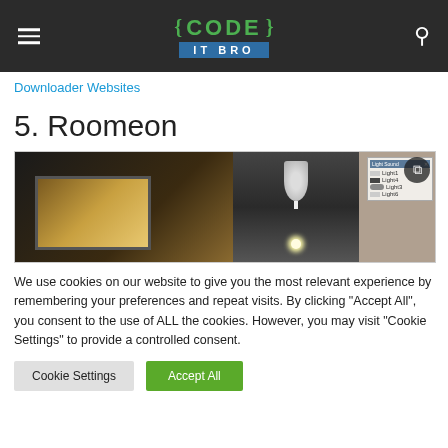{ CODE } IT BRO
Downloader Websites
5. Roomeon
[Figure (photo): Interior room scene showing a TV with warm glowing screen on the left, a crystal chandelier hanging from the ceiling in the center, and a light panel UI on the right side.]
We use cookies on our website to give you the most relevant experience by remembering your preferences and repeat visits. By clicking "Accept All", you consent to the use of ALL the cookies. However, you may visit "Cookie Settings" to provide a controlled consent.
Cookie Settings   Accept All